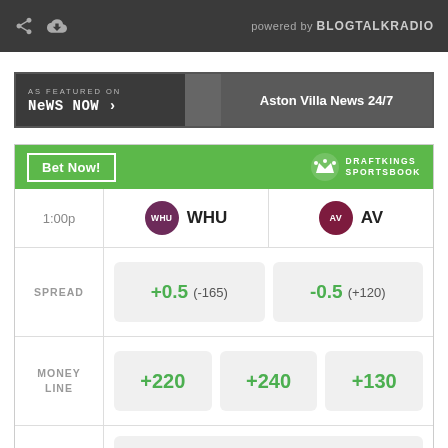powered by BLOGTALKRADIO
[Figure (screenshot): News Now banner — AS FEATURED ON News Now > | Aston Villa News 24/7]
|  | WHU | AV |
| --- | --- | --- |
| SPREAD | +0.5  (-165) | -0.5  (+120) |
| MONEY LINE | +220  +240 | +130 |
| OVER UNDER | > 2.5  (-115)  /  < 2.5  (-105) |  |
Odds/lines subject to change. See draftkings.com for details